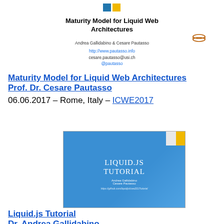[Figure (illustration): Logo area with colored squares and icons at top center]
Maturity Model for Liquid Web Architectures
Andrea Gallidabino & Cesare Pautasso
http://www.pautasso.info
cesare.pautasso@usi.ch
@pautasso
[Figure (illustration): Small basket/database icon on the right side]
Maturity Model for Liquid Web Architectures
Prof. Dr. Cesare Pautasso
06.06.2017 - Rome, Italy - ICWE2017
[Figure (screenshot): Slide thumbnail showing LIQUID.JS TUTORIAL with Andrea Gallidabino and Cesare Pautasso, https://github.com/liquidjs/icwe2017tutorial]
Liquid.js Tutorial
Dr. Andrea Gallidabino
06.06.2017 - Rome, Italy - ICWE2017